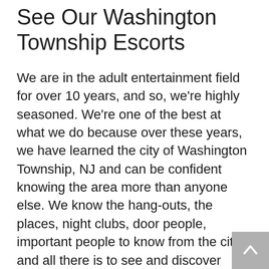See Our Washington Township Escorts
We are in the adult entertainment field for over 10 years, and so, we're highly seasoned. We're one of the best at what we do because over these years, we have learned the city of Washington Township, NJ and can be confident knowing the area more than anyone else. We know the hang-outs, the places, night clubs, door people, important people to know from the city and all there is to see and discover about the region of Washington Township, NJ.
Our services Washington Township escorts are from diverse parts of the world. On call are Hispanic, Spanish, American, European, Asian, Chinese, Italian, Russian, Irish, Polish, African